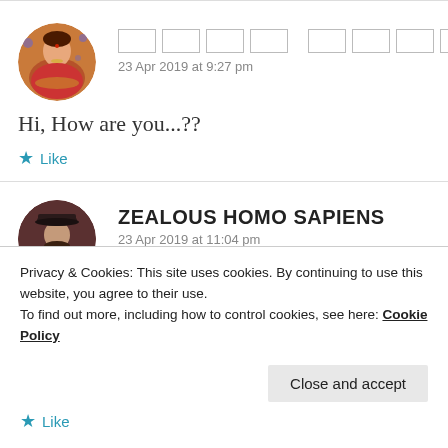[Figure (photo): Circular avatar of a woman in traditional Indian attire]
[redacted name]
23 Apr 2019 at 9:27 pm
Hi, How are you...??
Like
[Figure (photo): Circular avatar of a person wearing a dark hat]
ZEALOUS HOMO SAPIENS
23 Apr 2019 at 11:04 pm
Privacy & Cookies: This site uses cookies. By continuing to use this website, you agree to their use.
To find out more, including how to control cookies, see here: Cookie Policy
Close and accept
Like